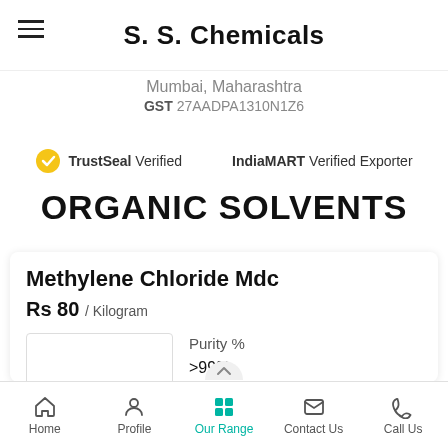S. S. Chemicals
Mumbai, Maharashtra
GST 27AADPA1310N1Z6
TrustSeal Verified    IndiaMART Verified Exporter
ORGANIC SOLVENTS
Methylene Chloride Mdc
Rs 80 / Kilogram
Purity %
>99%
Home  Profile  Our Range  Contact Us  Call Us